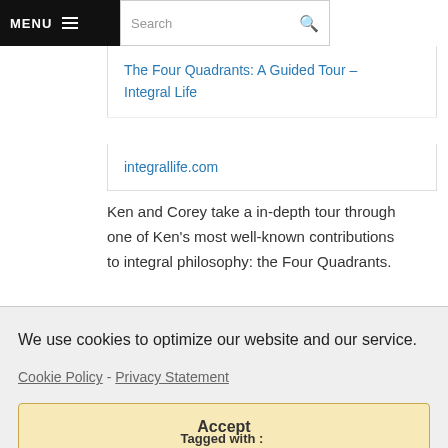MENU  Search
The Four Quadrants: A Guided Tour – Integral Life
integrallife.com
Ken and Corey take a in-depth tour through one of Ken's most well-known contributions to integral philosophy: the Four Quadrants.
We use cookies to optimize our website and our service.
Cookie Policy - Privacy Statement
Accept
Tagged with :